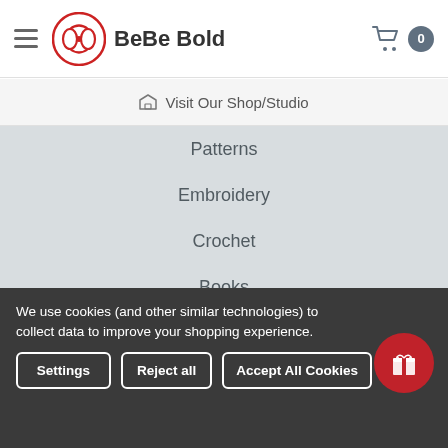BeBe Bold
Visit Our Shop/Studio
Patterns
Embroidery
Crochet
Books
Needles & Pins
Accessories
Sale
POPULAR BRANDS
We use cookies (and other similar technologies) to collect data to improve your shopping experience.
Settings  Reject all  Accept All Cookies